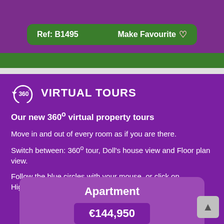Ref: B1495    Make Favourite ♡
360° VIRTUAL TOURS
Our new 360º virtual property tours
Move in and out of every room as if you are there.
Switch between: 360º tour, Doll's house view and Floor plan view.
Follow the blue circles with your mouse, or click on Highlights for an automatic tour.
Apartment
€144,950